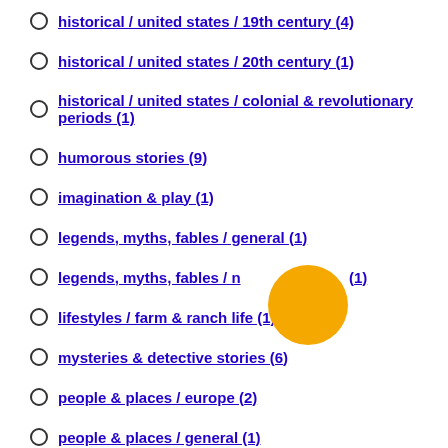historical / united states / 19th century (4)
historical / united states / 20th century (1)
historical / united states / colonial & revolutionary periods (1)
humorous stories (9)
imagination & play (1)
legends, myths, fables / general (1)
legends, myths, fables / native american (1)
lifestyles / farm & ranch life (1)
mysteries & detective stories (6)
people & places / europe (2)
people & places / general (1)